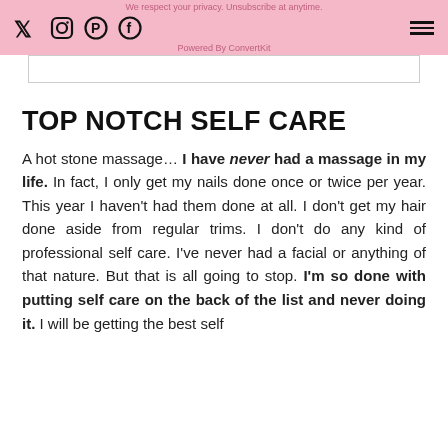We respect your privacy. Unsubscribe at anytime. [social icons: Twitter, Instagram, Pinterest, Facebook] [hamburger menu] Powered By ConvertKit
TOP NOTCH SELF CARE
A hot stone massage… I have never had a massage in my life. In fact, I only get my nails done once or twice per year. This year I haven't had them done at all. I don't get my hair done aside from regular trims. I don't do any kind of professional self care. I've never had a facial or anything of that nature. But that is all going to stop. I'm so done with putting self care on the back of the list and never doing it. I will be getting the best self